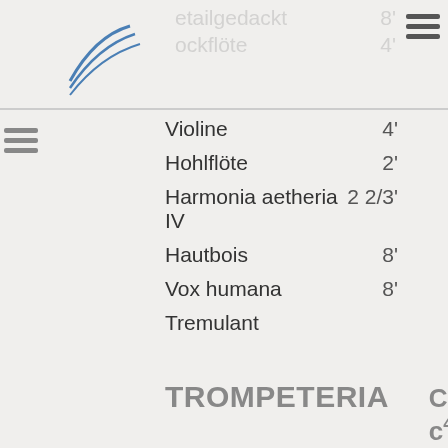etailgedackt 8' ockflöte 4'
Violine 4'
Hohlflöte 2'
Harmonia aetheria IV 2 2/3'
Hautbois 8'
Vox humana 8'
Tremulant
TROMPETERIA C-c4
Trompeta magna (1988) 16'
Trompeta real (1988) 8'
Trompeta da batalla (1988) 8'